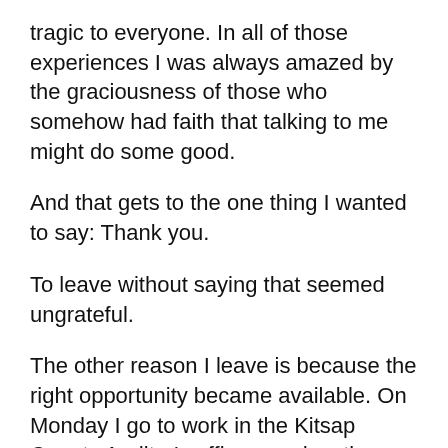tragic to everyone. In all of those experiences I was always amazed by the graciousness of those who somehow had faith that talking to me might do some good.
And that gets to the one thing I wanted to say: Thank you.
To leave without saying that seemed ungrateful.
The other reason I leave is because the right opportunity became available. On Monday I go to work in the Kitsap County Auditor's office as education and outreach coordinator. If you run for something here you will probably talk to me. I'll be taking on other communications tasks in the office as well, applying what I've learned here and learning new skills.